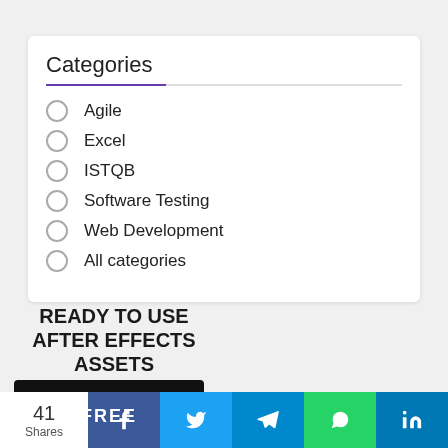Categories
Agile
Excel
ISTQB
Software Testing
Web Development
All categories
READY TO USE AFTER EFFECTS ASSETS
[Figure (photo): Dark banner image with FREE label overlay and After Effects assets promotional graphic]
41 Shares  f  t  Telegram  WhatsApp  in